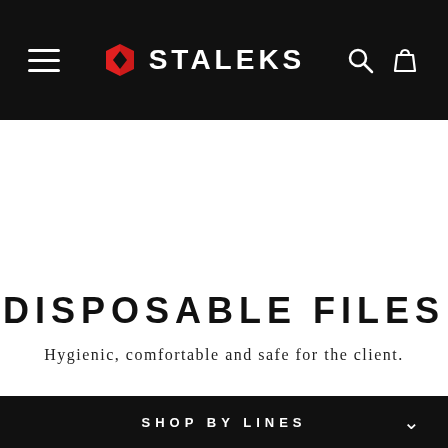STALEKS
DISPOSABLE FILES
Hygienic, comfortable and safe for the client.
SHOP BY LINES